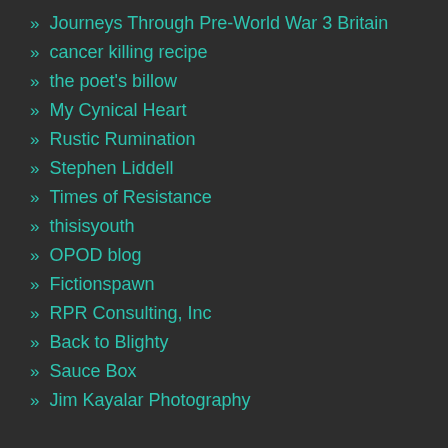» Journeys Through Pre-World War 3 Britain
» cancer killing recipe
» the poet's billow
» My Cynical Heart
» Rustic Rumination
» Stephen Liddell
» Times of Resistance
» thisisyouth
» OPOD blog
» Fictionspawn
» RPR Consulting, Inc
» Back to Blighty
» Sauce Box
» Jim Kayalar Photography